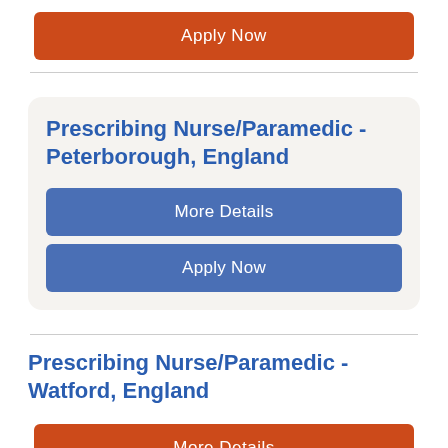Apply Now
Prescribing Nurse/Paramedic - Peterborough, England
More Details
Apply Now
Prescribing Nurse/Paramedic - Watford, England
More Details